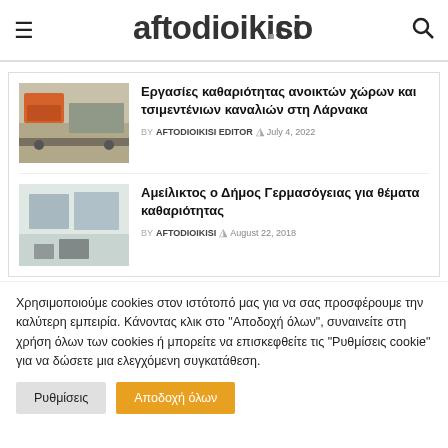aftodioikisi.com.cy
Εργασίες καθαριότητας ανοικτών χώρων και τσιμεντένιων καναλιών στη Λάρνακα
BY AFTODIOIKISI EDITOR  July 4, 2022
Αμείλικτος ο Δήμος Γερμασόγειας για θέματα καθαριότητας
BY AFTODIOIKISI  August 22, 2018
Χρησιμοποιούμε cookies στον ιστότοπό μας για να σας προσφέρουμε την καλύτερη εμπειρία. Κάνοντας κλικ στο "Αποδοχή όλων", συναινείτε στη χρήση όλων των cookies ή μπορείτε να επισκεφθείτε τις "Ρυθμίσεις cookie" για να δώσετε μια ελεγχόμενη συγκατάθεση.
Ρυθμίσεις | Αποδοχή όλων